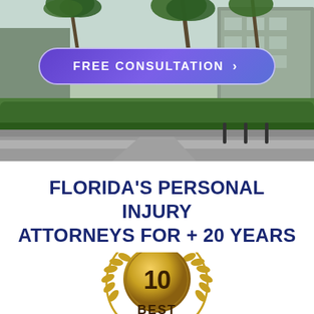[Figure (photo): Exterior photo of a commercial office building with palm trees, green hedges, and a parking area in front.]
FREE CONSULTATION >
FLORIDA'S PERSONAL INJURY ATTORNEYS FOR + 20 YEARS
[Figure (illustration): Gold laurel wreath badge with the number 10 in the center and the word BEST partially visible at the bottom.]